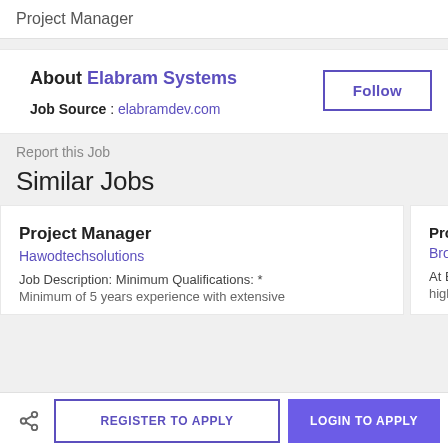Project Manager
About Elabram Systems
Job Source : elabramdev.com
Report this Job
Similar Jobs
Project Manager
Hawodtechsolutions
Job Description: Minimum Qualifications: *
Minimum of 5 years experience with extensive
Project M
Broadridge
At Broad
highest